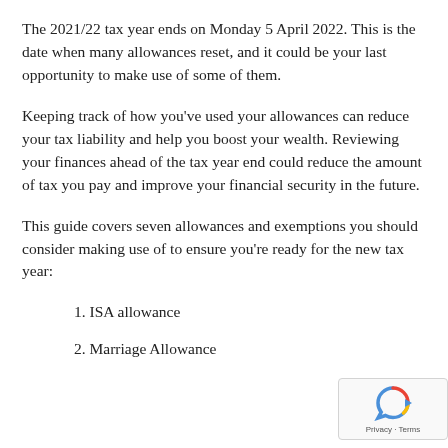The 2021/22 tax year ends on Monday 5 April 2022. This is the date when many allowances reset, and it could be your last opportunity to make use of some of them.
Keeping track of how you've used your allowances can reduce your tax liability and help you boost your wealth. Reviewing your finances ahead of the tax year end could reduce the amount of tax you pay and improve your financial security in the future.
This guide covers seven allowances and exemptions you should consider making use of to ensure you're ready for the new tax year:
1. ISA allowance
2. Marriage Allowance